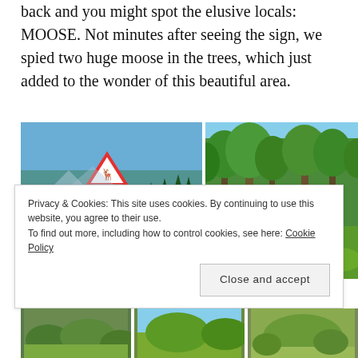back and you might spot the elusive locals: MOOSE. Not minutes after seeing the sign, we spied two huge moose in the trees, which just added to the wonder of this beautiful area.
[Figure (photo): A road with a moose warning sign (triangular red-bordered sign with moose silhouette) beside a highway surrounded by coniferous forest under blue sky]
[Figure (photo): A moose standing among green bushes and trees in a forest setting]
Privacy & Cookies: This site uses cookies. By continuing to use this website, you agree to their use.
To find out more, including how to control cookies, see here: Cookie Policy
[Figure (photo): Bottom row of three small nature/landscape photos]